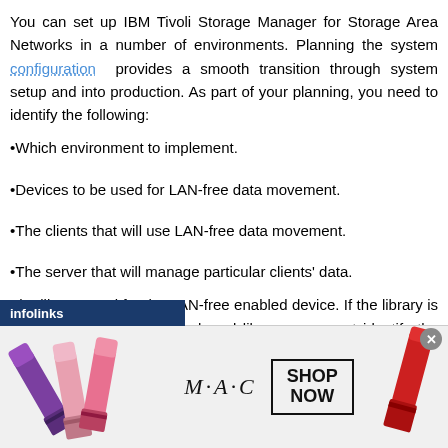You can set up IBM Tivoli Storage Manager for Storage Area Networks in a number of environments. Planning the system configuration provides a smooth transition through system setup and into production. As part of your planning, you need to identify the following:
Which environment to implement.
Devices to be used for LAN-free data movement.
The clients that will use LAN-free data movement.
The server that will manage particular clients' data.
The library used for the LAN-free enabled device. If the library is a Tivoli Storage Manager shared library, you must identify the Tivoli Storage Manager server that is the library
[Figure (other): Infolinks advertisement overlay with M·A·C cosmetics ad showing lipsticks and SHOP NOW button]